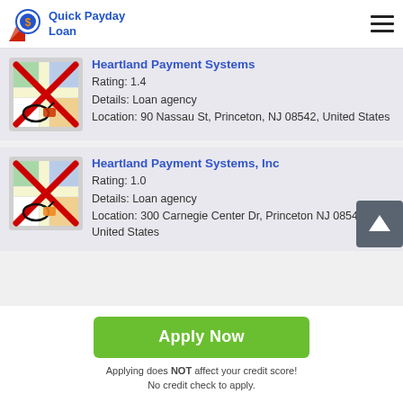Quick Payday Loan
Heartland Payment Systems
Rating: 1.4
Details: Loan agency
Location: 90 Nassau St, Princeton, NJ 08542, United States
Heartland Payment Systems, Inc
Rating: 1.0
Details: Loan agency
Location: 300 Carnegie Center Dr, Princeton NJ 08540, United States
Apply Now
Applying does NOT affect your credit score!
No credit check to apply.